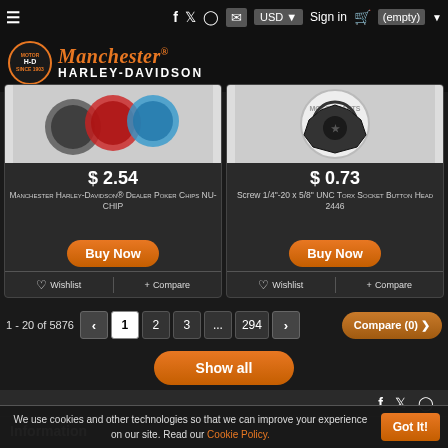Manchester Harley-Davidson — USD | Sign in | (empty cart)
[Figure (screenshot): Product image: Manchester Harley-Davidson Dealer Poker Chips NU-CHIP]
$ 2.54
Manchester Harley-Davidson® Dealer Poker Chips NU-CHIP
[Figure (screenshot): Product image: Screw 1/4"-20 x 5/8" UNC Torx Socket Button Head 2446]
$ 0.73
Screw 1/4"-20 x 5/8" UNC Torx Socket Button Head 2446
1 - 20 of 5876
1  2  3  ...  294
Compare (0)
Show all
Information
We use cookies and other technologies so that we can improve your experience on our site. Read our Cookie Policy.
Got It!